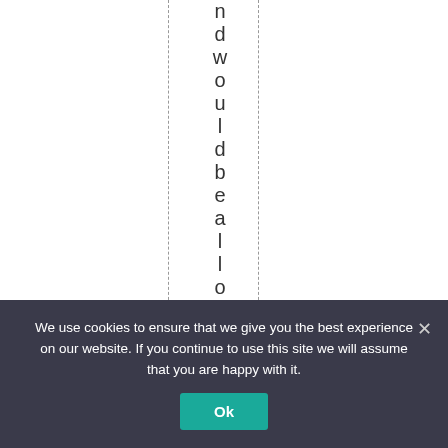nd would be allowed to
We use cookies to ensure that we give you the best experience on our website. If you continue to use this site we will assume that you are happy with it.